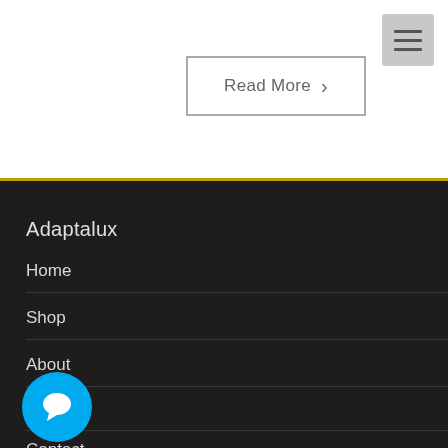[Figure (screenshot): Hamburger menu button (three horizontal lines) in light gray square, top right corner]
Read More ›
Adaptalux
Home
Shop
About
Blog
[Figure (illustration): Circular blue chat/message bubble button with white chat icon]
Contact